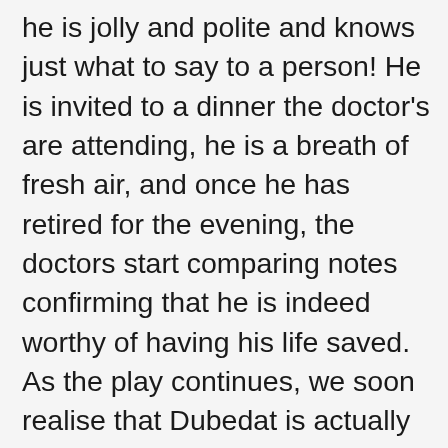he is jolly and polite and knows just what to say to a person! He is invited to a dinner the doctor's are attending, he is a breath of fresh air, and once he has retired for the evening, the doctors start comparing notes confirming that he is indeed worthy of having his life saved. As the play continues, we soon realise that Dubedat is actually a bit of a rogue, he has borrowed money from everyone, even one of the poorest doctors, Blenkinsop, who can not even afford to pay his fare home. It was endearing hearing how he trusted Dubedat, he only lent him money because his wife had inadvertently taken his purse, Blenkinsop